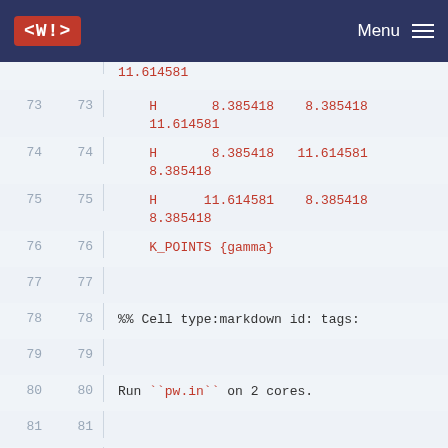<W!> Menu
73  73      H      8.385418    8.385418  11.614581
74  74      H      8.385418   11.614581   8.385418
75  75      H     11.614581    8.385418   8.385418
76  76      K_POINTS {gamma}
77  77
78  78      %% Cell type:markdown id: tags:
79  79
80  80      Run ``pw.in`` on 2 cores.
81  81
82  82      %% Cell type:code id: tags:
83  83
84  84      ``` python
85  85      %%bash
86  86      mpirun -n 2 pw.x -i pw.in > pw.out
87  87      ```
88  88
89  89      %% Cell type:markdown id: tags: